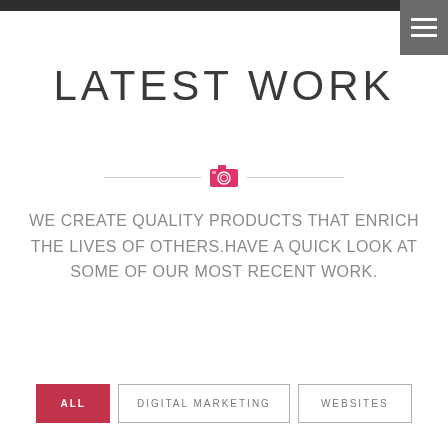LATEST WORK
[Figure (illustration): Horizontal divider with a pink/red camera icon centered between two gray lines]
WE CREATE QUALITY PRODUCTS THAT ENRICH THE LIVES OF OTHERS.HAVE A QUICK LOOK AT SOME OF OUR MOST RECENT WORK.
ALL
DIGITAL MARKETING
WEBSITES